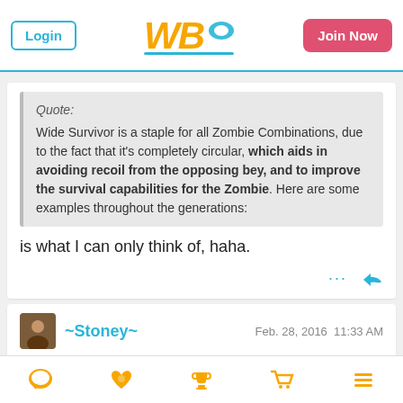WBO - Login | Join Now
Quote:
Wide Survivor is a staple for all Zombie Combinations, due to the fact that it's completely circular, which aids in avoiding recoil from the opposing bey, and to improve the survival capabilities for the Zombie. Here are some examples throughout the generations:
is what I can only think of, haha.
~Stoney~  Feb. 28, 2016  11:33 AM
Navigation icons